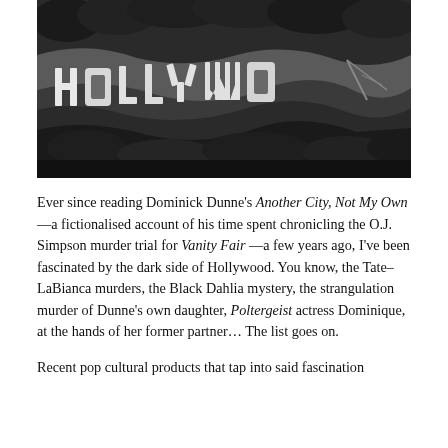[Figure (photo): Black and white photograph of the Hollywood sign on a hillside, partially visible letters including O, L, L, Y, W, O visible against a backdrop of trees and hills.]
Ever since reading Dominick Dunne's Another City, Not My Own—a fictionalised account of his time spent chronicling the O.J. Simpson murder trial for Vanity Fair—a few years ago, I've been fascinated by the dark side of Hollywood. You know, the Tate–LaBianca murders, the Black Dahlia mystery, the strangulation murder of Dunne's own daughter, Poltergeist actress Dominique, at the hands of her former partner… The list goes on.
Recent pop cultural products that tap into said fascination